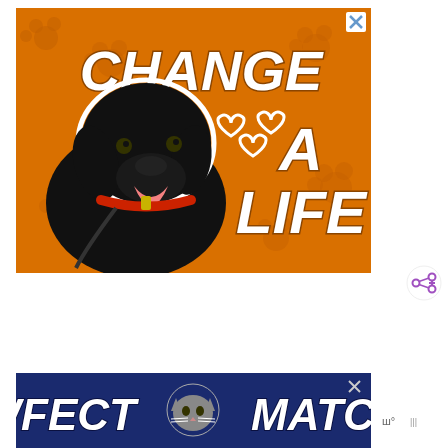[Figure (illustration): Advertisement banner with orange background featuring a black Labrador dog with a red collar. Bold white italic text reads 'CHANGE A LIFE' with heart outlines. Close button (X) in top right corner.]
[Figure (illustration): Advertisement banner with dark blue background. Bold white text reads 'PAWFECT MATCH' with a cat face icon in the center. Close button (X) visible. Share/weather icons visible to the right.]